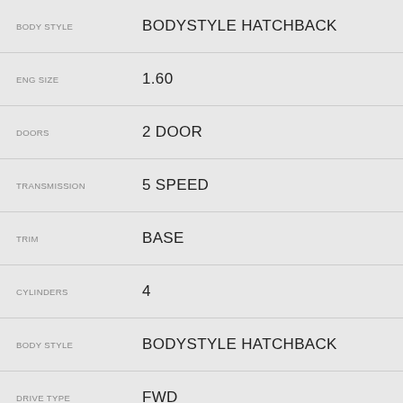| Label | Value |
| --- | --- |
| BODY STYLE | BODYSTYLE HATCHBACK |
| ENG SIZE | 1.60 |
| DOORS | 2 DOOR |
| TRANSMISSION | 5 SPEED |
| TRIM | BASE |
| CYLINDERS | 4 |
| BODY STYLE | BODYSTYLE HATCHBACK |
| DRIVE TYPE | FWD |
[Figure (logo): POWERED BY | AUTOPARTSEARCH logo with green O badge]
PICK-N-SAVE LYNCHBURG
10786 Wards Road